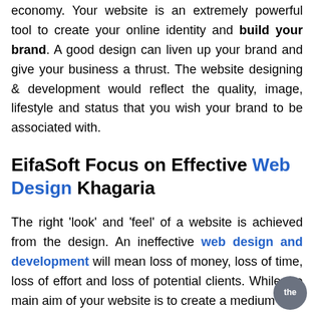economy. Your website is an extremely powerful tool to create your online identity and build your brand. A good design can liven up your brand and give your business a thrust. The website designing & development would reflect the quality, image, lifestyle and status that you wish your brand to be associated with.
EifaSoft Focus on Effective Web Design Khagaria
The right 'look' and 'feel' of a website is achieved from the design. An ineffective web design and development will mean loss of money, loss of time, loss of effort and loss of potential clients. While the main aim of your website is to create a medium